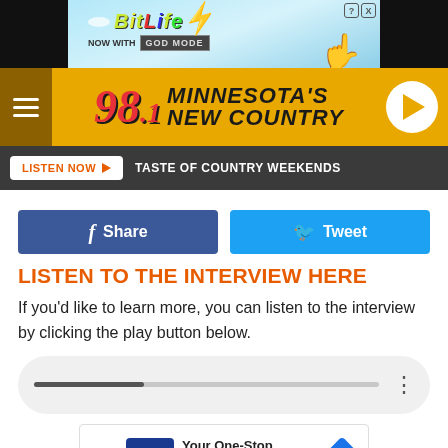[Figure (screenshot): BitLife advertisement banner with blue sky background, 'NOW WITH GOD MODE' text and pointing hand graphic]
[Figure (logo): 98.1 Minnesota's New Country radio station header with yellow/gold background, hamburger menu, station logo, and play button]
LISTEN NOW ▶  TASTE OF COUNTRY WEEKENDS
Share
Tweet
LISTEN TO THE INTERVIEW HERE
If you'd like to learn more, you can listen to the interview by clicking the play button below.
[Figure (screenshot): Audio player widget with progress bar and options menu (three dots)]
[Figure (screenshot): Petco advertisement: 'Your One-Stop Summer Pet Shop' with Petco logo and blue diamond arrow]